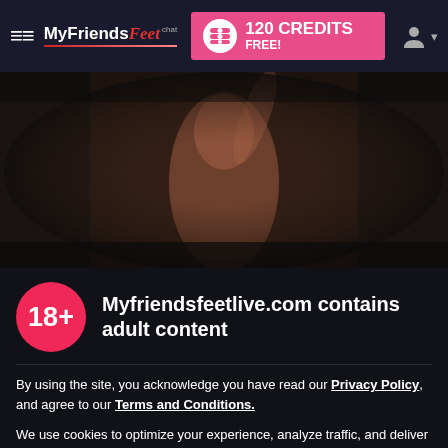MyFriendsFeet chat — 120 CREDITS FREE!
[Figure (screenshot): Blurred/darkened background image of a person, partially visible, dark circular vignette]
Myfriendsfeetlive.com contains adult content
By using the site, you acknowledge you have read our Privacy Policy, and agree to our Terms and Conditions.
We use cookies to optimize your experience, analyze traffic, and deliver more personalized service. To learn more, please see our Privacy Policy.
I AGREE